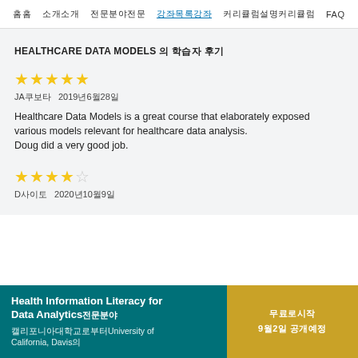홈  소개  전문 분야  강좌목록  커리큘럼설명  FAQ
HEALTHCARE DATA MODELS 의 학습자 후기
★★★★★ JA쿠보타  2019년6월28일
Healthcare Data Models is a great course that elaborately exposed various models relevant for healthcare data analysis.
Doug did a very good job.
★★★★☆ D사이토  2020년10월9일
Health Information Literacy for Data Analytics전문분야
캘리포니아대학교로부터University of California, Davis의
무료로시작
9월2일 공개예정